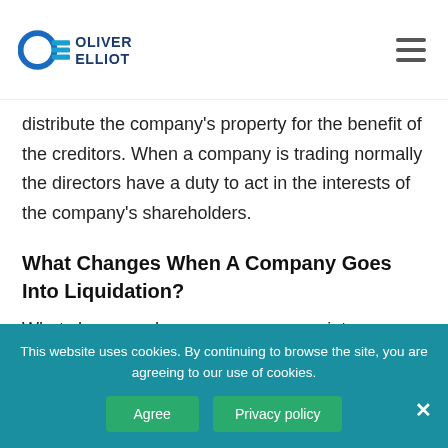Oliver Elliot
distribute the company's property for the benefit of the creditors. When a company is trading normally the directors have a duty to act in the interests of the company's shareholders.
What Changes When A Company Goes Into Liquidation?
What changes when a company goes into Liquidation is that apart from the fact that
This website uses cookies. By continuing to browse the site, you are agreeing to our use of cookies.